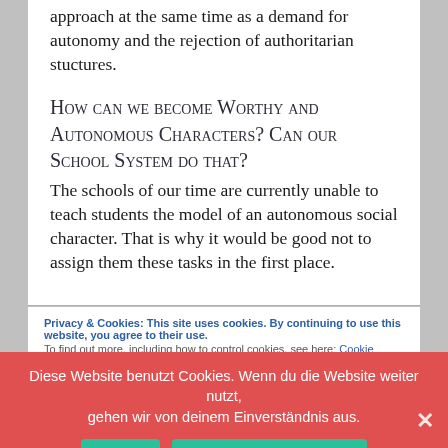approach at the same time as a demand for autonomy and the rejection of authoritarian stuctures.
How can we become Worthy and Autonomous Characters? Can our School System do that?
The schools of our time are currently unable to teach students the model of an autonomous social character. That is why it would be good not to assign them these tasks in the first place.
Privacy & Cookies: This site uses cookies. By continuing to use this website, you agree to their use.
To find out more, including how to control cookies, see here: Cookie Policy
Diese Website benutzt Cookies. Wenn du die Website weiter nutzt, gehen wir von deinem Einverständnis aus.
that every child has a great longing to be recognized